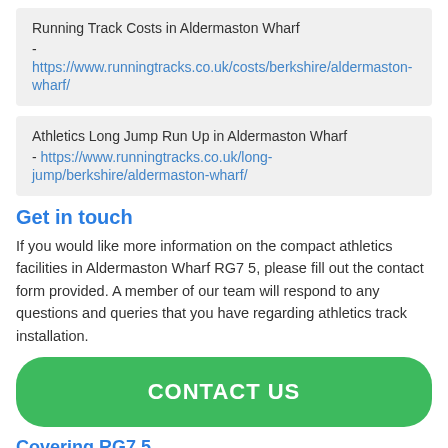Running Track Costs in Aldermaston Wharf - https://www.runningtracks.co.uk/costs/berkshire/aldermaston-wharf/
Athletics Long Jump Run Up in Aldermaston Wharf - https://www.runningtracks.co.uk/long-jump/berkshire/aldermaston-wharf/
Get in touch
If you would like more information on the compact athletics facilities in Aldermaston Wharf RG7 5, please fill out the contact form provided. A member of our team will respond to any questions and queries that you have regarding athletics track installation.
CONTACT US
Covering RG7 5
[Figure (map): Google map preview showing coverage area for RG7 5]